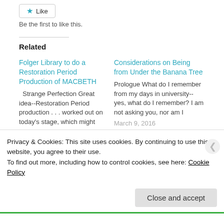[Figure (other): Like button with star icon]
Be the first to like this.
Related
Folger Library to do a Restoration Period Production of MACBETH
Strange Perfection Great idea--Restoration Period production . . . worked out on today's stage, which might
Considerations on Being from Under the Banana Tree
Prologue What do I remember from my days in university--yes, what do I remember? I am not asking you, nor am I
March 9, 2016
Privacy & Cookies: This site uses cookies. By continuing to use this website, you agree to their use.
To find out more, including how to control cookies, see here: Cookie Policy
Close and accept